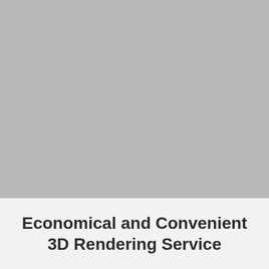[Figure (photo): Large gray placeholder image occupying the top portion of the page]
Economical and Convenient 3D Rendering Service